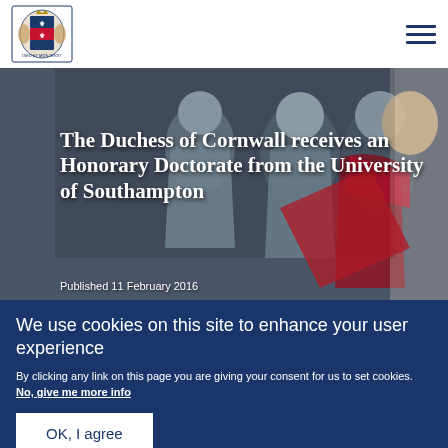Royal crest logo and navigation menu
[Figure (photo): Photo of the Duchess of Cornwall at a graduation ceremony wearing academic robes, with white text overlay showing the article title]
The Duchess of Cornwall receives an Honorary Doctorate from the University of Southampton
Published 11 February 2016
We use cookies on this site to enhance your user experience
By clicking any link on this page you are giving your consent for us to set cookies. No, give me more info
OK, I agree